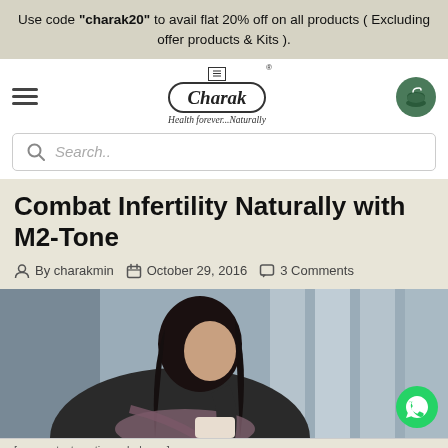Use code "charak20" to avail flat 20% off on all products ( Excluding offer products & Kits ).
[Figure (logo): Charak brand logo with mortar and pestle icon and tagline 'Health forever...Naturally']
Search..
Combat Infertility Naturally with M2-Tone
By charakmin   October 29, 2016   3 Comments
[Figure (photo): A woman with dark hair wearing a black jacket and floral scarf, looking contemplative and resting her chin near her hand, sitting by a window in what appears to be a cafe.]
[…more text continues below…]